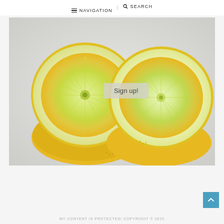NAVIGATION | SEARCH
[Figure (photo): Two halved lemons/citrus fruits cut-side up on a light marble surface, with a semi-transparent overlay button reading 'Sign up!']
MY CONTENT IS PROTECTED! COPYRIGHT © 2015